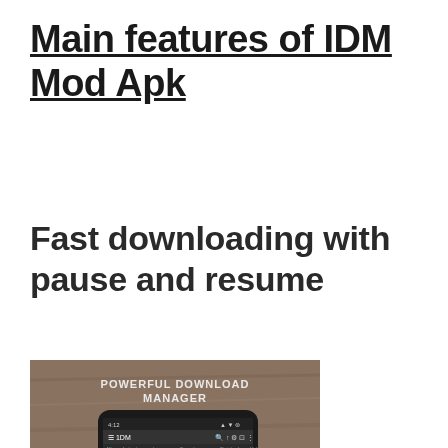Main features of IDM Mod Apk
Fast downloading with pause and resume
[Figure (screenshot): Screenshot of IDM app on an Android smartphone showing download manager interface with 'Powerful Download Manager' text, placed on a wooden surface background. A context menu is visible with options like Open, Pause, Open Folder, Redownload, Advanced/Additional options, Remove, Copy Download link, Copy Most Popular Keys, Properties.]